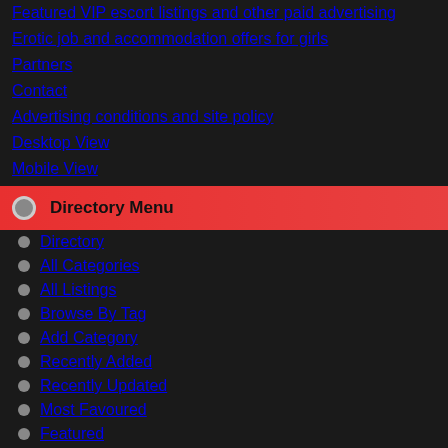Featured VIP escort listings and other paid advertising
Erotic job and accommodation offers for girls
Partners
Contact
Advertising conditions and site policy
Desktop View
Mobile View
Directory Menu
Directory
All Categories
All Listings
Browse By Tag
Add Category
Recently Added
Recently Updated
Most Favoured
Featured
Popular
Most Rated
Top Rated
Most Reviewed